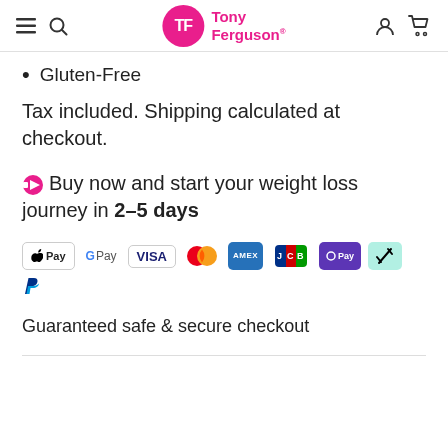Tony Ferguson
Gluten-Free
Tax included. Shipping calculated at checkout.
Buy now and start your weight loss journey in 2–5 days
[Figure (other): Row of payment method logos: Apple Pay, Google Pay, Visa, Mastercard, Amex, JCB, OPay, Afterpay, PayPal]
Guaranteed safe & secure checkout